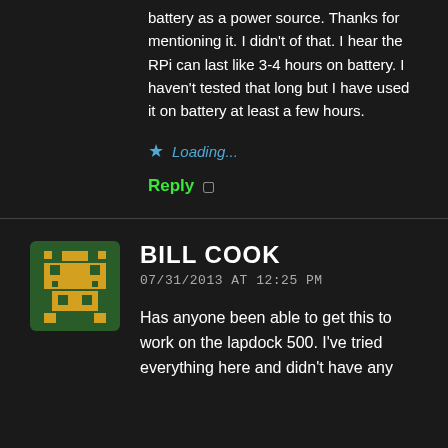battery as a power source. Thanks for mentioning it. I didn't of that. I hear the RPi can last like 3-4 hours on battery. I haven't tested that long but I have used it on battery at least a few hours.
Loading...
Reply
[Figure (illustration): Pixel art avatar of a green space invader-style robot/character on a dark green background]
BILL COOK
07/31/2013 AT 12:25 PM
Has anyone been able to get this to work on the lapdock 500. I've tried everything here and didn't have any